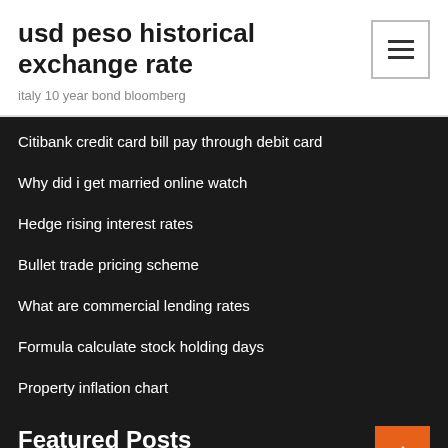usd peso historical exchange rate
italy 10 year bond bloomberg
Citibank credit card bill pay through debit card
Why did i get married online watch
Hedge rising interest rates
Bullet trade pricing scheme
What are commercial lending rates
Formula calculate stock holding days
Property inflation chart
Featured Posts